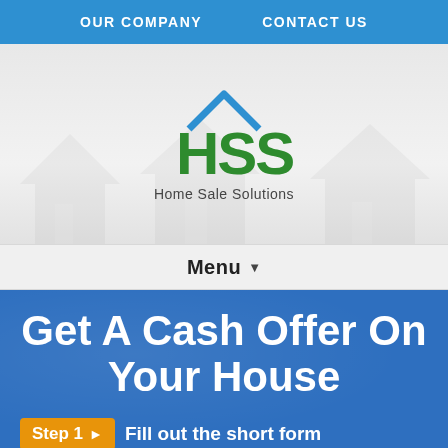OUR COMPANY   CONTACT US
[Figure (logo): HSS Home Sale Solutions logo with blue roof/house icon above green HSS letters and 'Home Sale Solutions' tagline below]
Menu ▼
Get A Cash Offer On Your House
Step 1  Fill out the short form